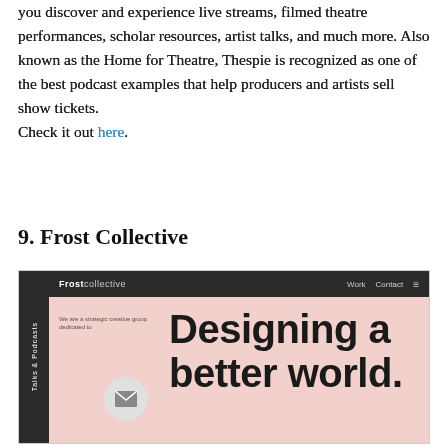you discover and experience live streams, filmed theatre performances, scholar resources, artist talks, and much more. Also known as the Home for Theatre, Thespie is recognized as one of the best podcast examples that help producers and artists sell show tickets.
Check it out here.
9. Frost Collective
[Figure (screenshot): Screenshot of the Frost Collective website showing a dark sidebar with 'Talks & Podcasts' label, a dark top navigation bar with 'Frost collective' logo and 'Work Contact' menu items, a pink/salmon hero section with large bold text reading 'Designing a better world.' and a circular email button in the bottom left.]